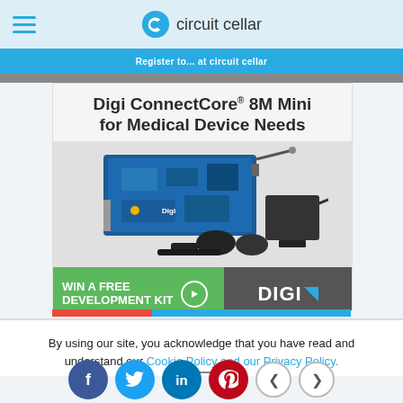circuit cellar
[Figure (screenshot): Circuit Cellar website header with hamburger menu icon and Circuit Cellar logo with blue 'C' icon and text 'circuit cellar']
Register to...
[Figure (photo): Advertisement: Digi ConnectCore 8M Mini for Medical Device Needs. Shows a development board (blue PCB) with accessories including power adapters and antenna. Bottom banner says 'WIN A FREE DEVELOPMENT KIT' with an arrow button, and DIGI logo on dark background.]
By using our site, you acknowledge that you have read and understand our Cookie Policy and our Privacy Policy.
[Figure (screenshot): Social media sharing buttons: Facebook (blue circle), Twitter (cyan circle), LinkedIn (blue circle), Pinterest (red circle), and left/right navigation arrows]